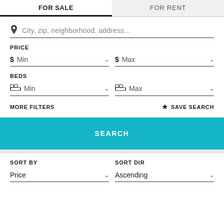FOR SALE
FOR RENT
City, zip, neighborhood, address...
PRICE
$ Min
$ Max
BEDS
Min
Max
MORE FILTERS
SAVE SEARCH
SEARCH
SORT BY
SORT DIR
Price
Ascending